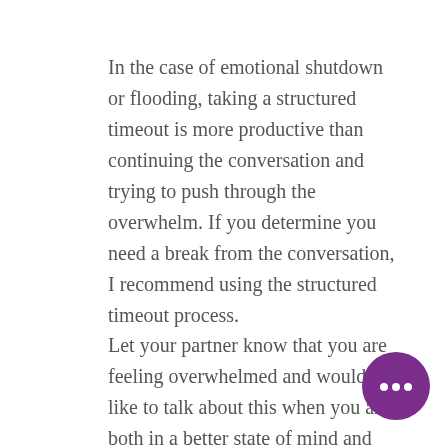In the case of emotional shutdown or flooding, taking a structured timeout is more productive than continuing the conversation and trying to push through the overwhelm. If you determine you need a break from the conversation, I recommend using the structured timeout process.
Let your partner know that you are feeling overwhelmed and would like to talk about this when you are both in a better state of mind and can continue the discussion without toxic behaviors present. Then give time between 20 minutes and 24 hours
[Figure (illustration): Purple circular chat button with three dots (ellipsis) icon in white, positioned at bottom right of page]